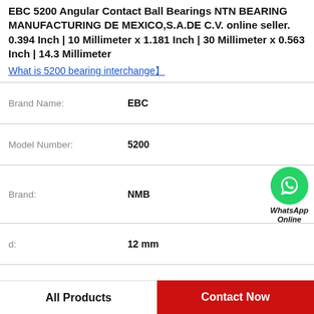EBC 5200 Angular Contact Ball Bearings NTN BEARING MANUFACTURING DE MEXICO,S.A.DE C.V. online seller. 0.394 Inch | 10 Millimeter x 1.181 Inch | 30 Millimeter x 0.563 Inch | 14.3 Millimeter
What is 5200 bearing interchange
| Property | Value |
| --- | --- |
| Brand Name: | EBC |
| Model Number: | 5200 |
| Brand: | NMB |
| d: | 12 mm |
| C: | 12 mm |
| B: | 12 mm |
| H: | 12 mm |
All Products
Contact Now